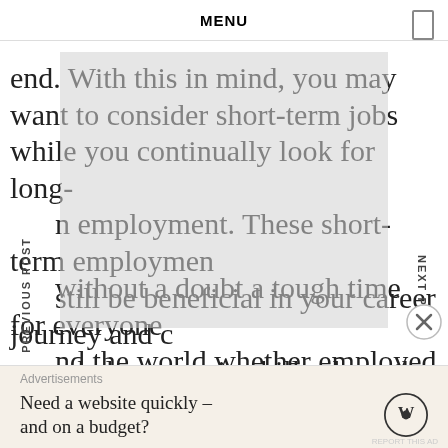MENU
end. With this in mind, you may want to consider short-term jobs while you continually look for long-term employment. These short-term employment opportunities can still be beneficial in your career journey and can even help you gain skills along the way.
This is without a doubt a tough time for everyone around the world whether employed or not. We are all going through challenges in many aspects in both our personal and career lives. A lot of things are still at a halt, and the other half moving at a turtle-pace,
Advertisements
Need a website quickly – and on a budget?